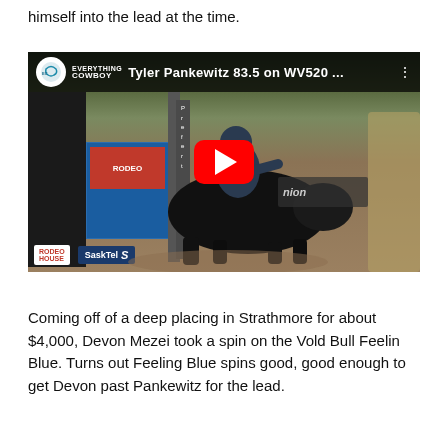himself into the lead at the time.
[Figure (screenshot): YouTube video thumbnail showing Tyler Pankewitz 83.5 on WV520 bull riding at a rodeo event. A rider is on a black bull in an arena. The EverythingCowboy logo appears top left with the video title in the dark title bar. A red YouTube play button is centered over the image. SaskTel sponsor logo visible at bottom.]
Coming off of a deep placing in Strathmore for about $4,000, Devon Mezei took a spin on the Vold Bull Feelin Blue. Turns out Feeling Blue spins good, good enough to get Devon past Pankewitz for the lead.